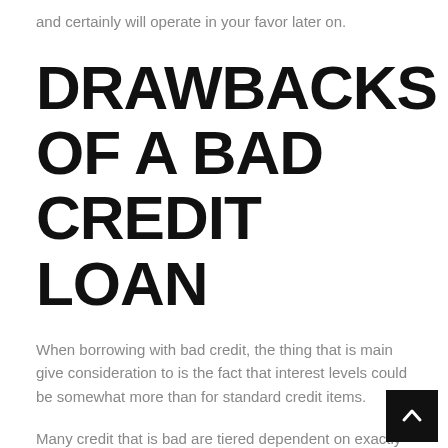and certainly will operate in your favor later on.
DRAWBACKS OF A BAD CREDIT LOAN
When borrowing with bad credit, the thing that is main give consideration to is the fact that interest levels could be somewhat more than for standard credit items.
Many credit that is bad are tiered dependent on exactly how much you